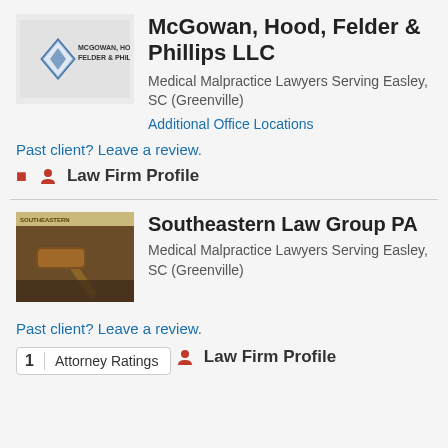[Figure (logo): McGowan, Hood, Felder & Phillips LLC law firm logo with diamond shape and text]
McGowan, Hood, Felder & Phillips LLC
Medical Malpractice Lawyers Serving Easley, SC (Greenville)
Additional Office Locations
Past client? Leave a review.
Law Firm Profile
[Figure (photo): Southeastern Law Group PA website screenshot showing a gavel on a desk]
Southeastern Law Group PA
Medical Malpractice Lawyers Serving Easley, SC (Greenville)
Past client? Leave a review.
1  Attorney Ratings
Law Firm Profile